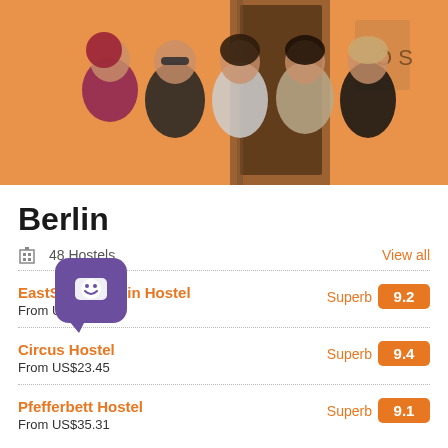[Figure (photo): Group photo of five people standing together in front of an orange building with a dark wooden door. The group is posing with arms around each other.]
Berlin
48 Hostels   View all
EastSeven Berlin Hostel   Superb 9.2
From US$28.17
Circus Hostel   Superb 9.4
From US$23.45
Pfefferbett Hostel   Superb 9.1
From US$35.31